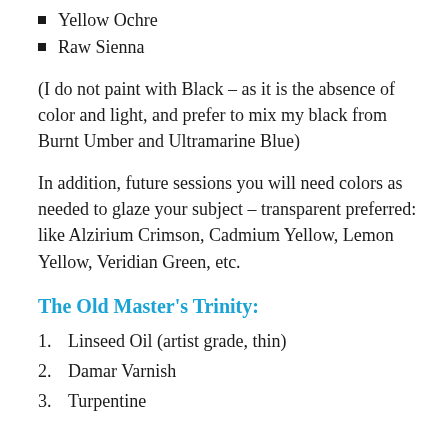Yellow Ochre
Raw Sienna
(I do not paint with Black – as it is the absence of color and light, and prefer to mix my black from Burnt Umber and Ultramarine Blue)
In addition, future sessions you will need colors as needed to glaze your subject – transparent preferred: like Alzirium Crimson, Cadmium Yellow, Lemon Yellow, Veridian Green, etc.
The Old Master's Trinity:
1. Linseed Oil (artist grade, thin)
2. Damar Varnish
3. Turpentine